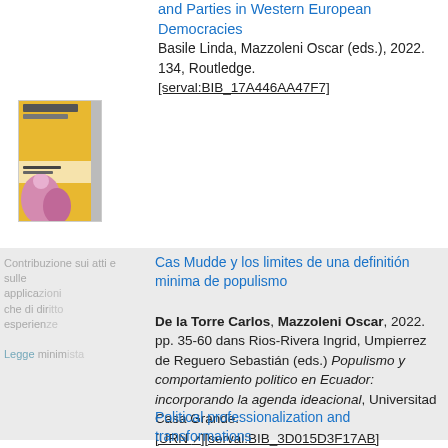and Parties in Western European Democracies Basile Linda, Mazzoleni Oscar (eds.), 2022. 134, Routledge. [serval:BIB_17A446AA47F7]
[Figure (photo): Book cover thumbnail with yellow and pink/purple design]
Cas Mudde y los limites de una definitión minima de populismo
De la Torre Carlos, Mazzoleni Oscar, 2022. pp. 35-60 dans Rios-Rivera Ingrid, Umpierrez de Reguero Sebastián (eds.) Populismo y comportamiento politico en Ecuador: incorporando la agenda ideacional, Universitad Casa Grande. [URN][serval:BIB_3D015D3F17AB]
Political professionalization and transformations